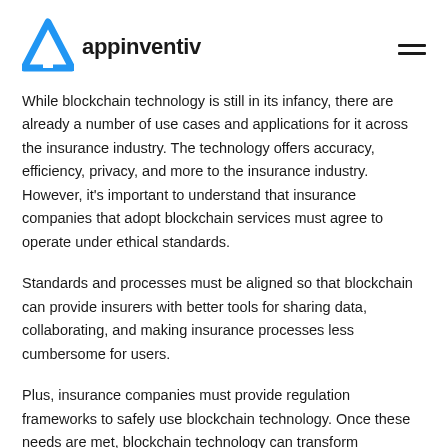appinventiv
While blockchain technology is still in its infancy, there are already a number of use cases and applications for it across the insurance industry. The technology offers accuracy, efficiency, privacy, and more to the insurance industry. However, it's important to understand that insurance companies that adopt blockchain services must agree to operate under ethical standards.
Standards and processes must be aligned so that blockchain can provide insurers with better tools for sharing data, collaborating, and making insurance processes less cumbersome for users.
Plus, insurance companies must provide regulation frameworks to safely use blockchain technology. Once these needs are met, blockchain technology can transform